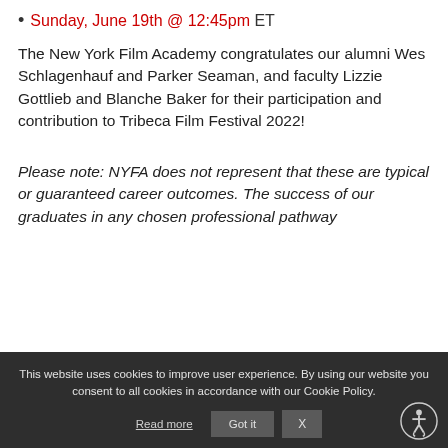Sunday, June 19th @ 12:45pm ET
The New York Film Academy congratulates our alumni Wes Schlagenhauf and Parker Seaman, and faculty Lizzie Gottlieb and Blanche Baker for their participation and contribution to Tribeca Film Festival 2022!
Please note: NYFA does not represent that these are typical or guaranteed career outcomes. The success of our graduates in any chosen professional pathway
This website uses cookies to improve user experience. By using our website you consent to all cookies in accordance with our Cookie Policy. Read more Got it X